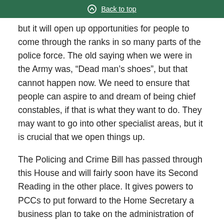Back to top
but it will open up opportunities for people to come through the ranks in so many parts of the police force. The old saying when we were in the Army was, “Dead man’s shoes”, but that cannot happen now. We need to ensure that people can aspire to and dream of being chief constables, if that is what they want to do. They may want to go into other specialist areas, but it is crucial that we open things up.
The Policing and Crime Bill has passed through this House and will fairly soon have its Second Reading in the other place. It gives powers to PCCs to put forward to the Home Secretary a business plan to take on the administration of the fire service. I have to declare an interest: I wrote a paper some 30